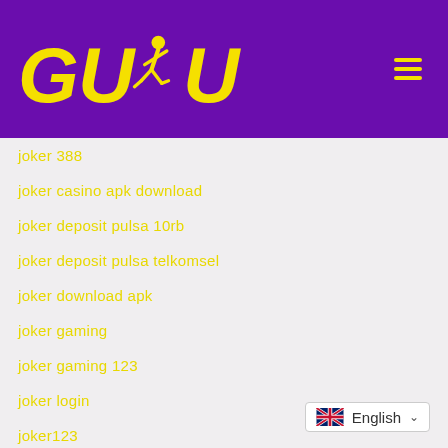[Figure (logo): GUDU logo with runner silhouette in yellow on purple background, with hamburger menu icon on right]
joker 388
joker casino apk download
joker deposit pulsa 10rb
joker deposit pulsa telkomsel
joker download apk
joker gaming
joker gaming 123
joker login
joker123
joker123 apk
joker123 apk 2020
joker123 daftar
joker123 download